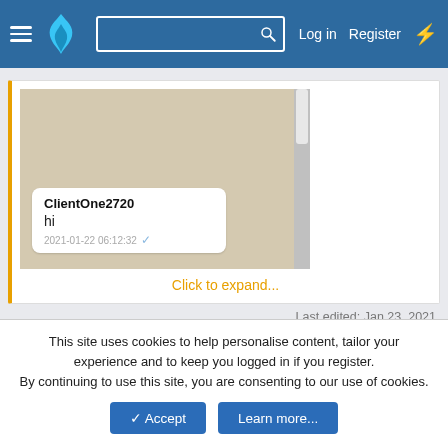Navigation bar with hamburger menu, logo, search, Log in, Register, lightning icon
[Figure (screenshot): WhatsApp conversation screenshot showing a message from ClientOne2720 saying 'hi' at 2021-01-22 06:12:32 with a single checkmark]
Click to expand...
Last edited: Jan 23, 2021
0
mangojack
This site uses cookies to help personalise content, tailor your experience and to keep you logged in if you register.
By continuing to use this site, you are consenting to our use of cookies.
✓ Accept   Learn more...